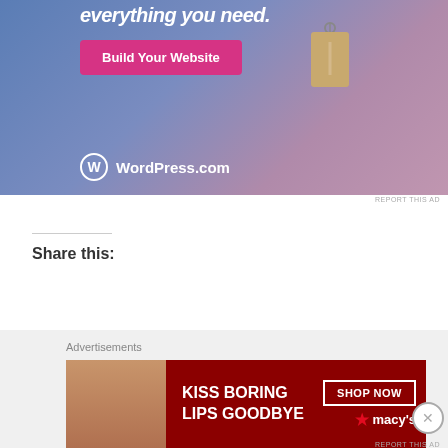[Figure (photo): WordPress.com advertisement with gradient blue-pink background, 'Build Your Website' pink button, a hanging price tag graphic, and WordPress.com logo at bottom]
REPORT THIS AD
Share this:
[Figure (other): Share buttons: Facebook, Twitter, More]
Like this:
Advertisements
[Figure (photo): Macy's advertisement: KISS BORING LIPS GOODBYE with SHOP NOW button and Macy's star logo]
REPORT THIS AD